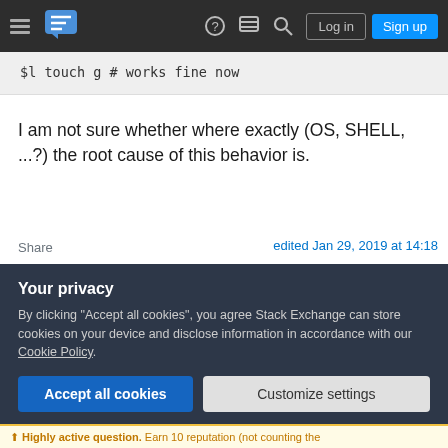Stack Exchange navigation bar with Log in and Sign up buttons
$l touch g # works fine now
I am not sure whether where exactly (OS, SHELL, ...?) the root cause of this behavior is.
Share
Improve this answer
Follow
edited Jan 29, 2019 at 14:18
answered Jan 29, 2019 at 9:58
Rolf 872 ● 1 ● 7 ● 10
Your privacy
By clicking "Accept all cookies", you agree Stack Exchange can store cookies on your device and disclose information in accordance with our Cookie Policy.
Accept all cookies
Customize settings
Highly active question. Earn 10 reputation (not counting the